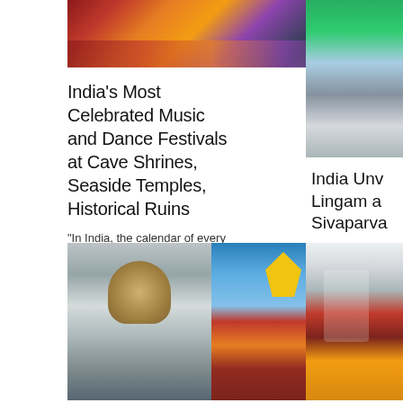[Figure (photo): Performance or cultural event on stage with colorful lighting, performers in traditional costumes]
India's Most Celebrated Music and Dance Festivals at Cave Shrines, Seaside Temples, Historical Ruins
“In India, the calendar of every state is full of only religious events and festivals.” If you think so, you are not absolutely right. Indian states boast …
[Figure (photo): Partial image of a building with curved stone architecture]
India Unv… Lingam a… Sivaparva…
Other than th… for some of t… structures in t… world’s …
[Figure (photo): Composite image: Supreme Court building dome on left, golden temple with ornate spires on right]
[Figure (photo): Person in traditional Indian attire at a podium or event]